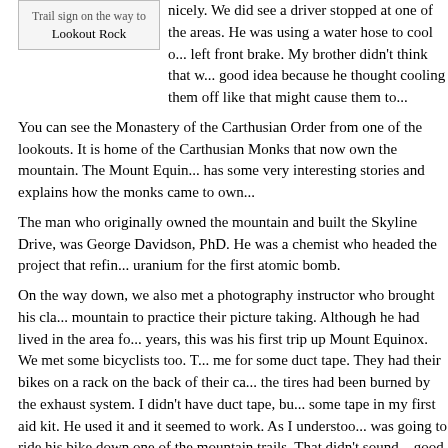[Figure (other): Sign box reading: Trail sign on the way to Lookout Rock]
nicely. We did see a driver stopped at one of the areas. He was using a water hose to cool off his left front brake. My brother didn't think that was a good idea because he thought cooling them off like that might cause them to...
You can see the Monastery of the Carthusian Order from one of the lookouts. It is home of the Carthusian Monks that now own the mountain. The Mount Equinox... has some very interesting stories and explains how the monks came to own...
The man who originally owned the mountain and built the Skyline Drive, was George Davidson, PhD. He was a chemist who headed the project that refin... uranium for the first atomic bomb.
On the way down, we also met a photography instructor who brought his cla... mountain to practice their picture taking. Although he had lived in the area fo... years, this was his first trip up Mount Equinox. We met some bicyclists too. T... me for some duct tape. They had their bikes on a rack on the back of their ca... the tires had been burned by the exhaust system. I didn't have duct tape, bu... some tape in my first aid kit. He used it and it seemed to work. As I understoo... was going to ride his bike down one of the mountain trails. That didn't sound... good idea to me. Especially since the trail I was on was so full of slippery roo...
We made it down successfully and drove south on 7A. We visited an antique... Arlington. The store was located in an old movie theater. I have been there b... an interesting store.
After that, we went back to our friends house and had some more snacks. Be...